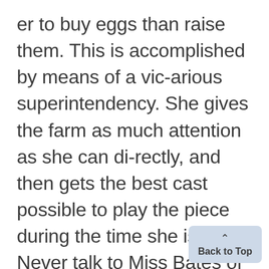er to buy eggs than raise them. This is accomplished by means of a vicarious superintendency. She gives the farm as much attention as she can directly, and then gets the best cast possible to play the piece during the time she is away. Never talk to Miss Bates of trying a play "on the dog." She has too much respect for the dog. She would flame into anger at once. Even now her kennels are famous, and when she does settle down to the life of a farmer there will be a side line of breeding